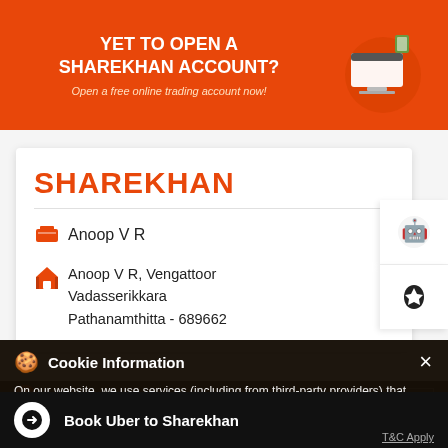[Figure (screenshot): Top orange banner with text 'YET TO OPEN A SHAREKHAN ACCOUNT?' and 'Open a free online trading account now!' with an illustration of a laptop and trading setup]
SHAREKHAN
Anoop V R
Anoop V R, Vengattoor Vadasserikkara Pathanamthitta - 689662
Open until 08:00 PM   OPEN NOW
Cookie Information
On our website, we use services (including from third-party providers) that help us to improve our online presence (optimization of website) and to display content that is geared to their interests. We need your consent before being able to use these services.
LOOKING FOR A BETTER DEMAT
Book Uber to Sharekhan
T&C Apply